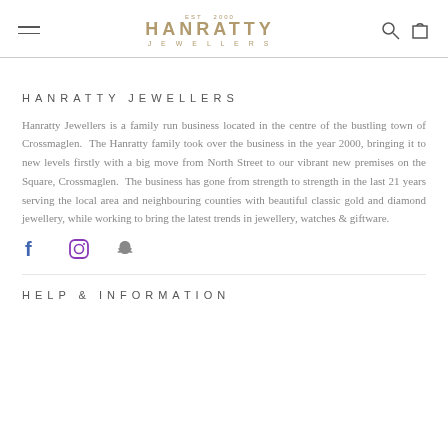HANRATTY JEWELLERS — est. 2000
HANRATTY JEWELLERS
Hanratty Jewellers is a family run business located in the centre of the bustling town of Crossmaglen.  The Hanratty family took over the business in the year 2000, bringing it to new levels firstly with a big move from North Street to our vibrant new premises on the Square, Crossmaglen.  The business has gone from strength to strength in the last 21 years serving the local area and neighbouring counties with beautiful classic gold and diamond jewellery, while working to bring the latest trends in jewellery, watches & giftware.
[Figure (other): Social media icons: Facebook, Instagram, Snapchat]
HELP & INFORMATION